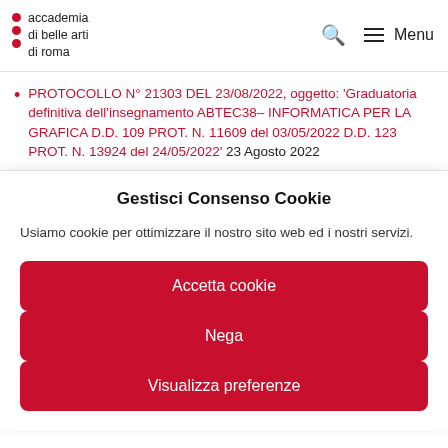accademia di belle arti di roma | Menu
PROTOCOLLO N° 21303 DEL 23/08/2022, oggetto: 'Graduatoria definitiva dell'insegnamento ABTEC38– INFORMATICA PER LA GRAFICA D.D. 109 PROT. N. 11609 del 03/05/2022 D.D. 123 PROT. N. 13924 del 24/05/2022' 23 Agosto 2022
PROTOCOLLO N° 21302 DEL 23/08/2022, oggetto: 'Graduatoria
Gestisci Consenso Cookie
Usiamo cookie per ottimizzare il nostro sito web ed i nostri servizi.
Accetta cookie
Nega
Visualizza preferenze